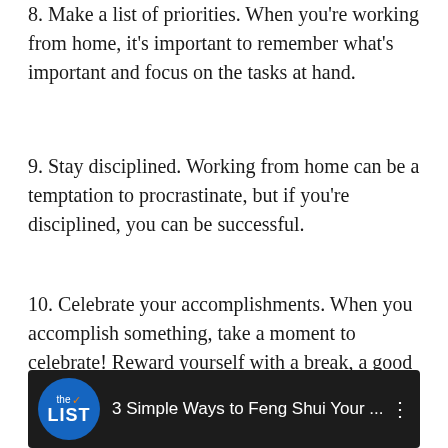8. Make a list of priorities. When you're working from home, it's important to remember what's important and focus on the tasks at hand.
9. Stay disciplined. Working from home can be a temptation to procrastinate, but if you're disciplined, you can be successful.
10. Celebrate your accomplishments. When you accomplish something, take a moment to celebrate! Reward yourself with a break, a good meal, or just a little bit of downtime.
[Figure (screenshot): Video thumbnail showing 'the LIST' logo with a checkmark on a blue circular background, and title '3 Simple Ways to Feng Shui Your ...' on a dark background with three-dot menu icon]